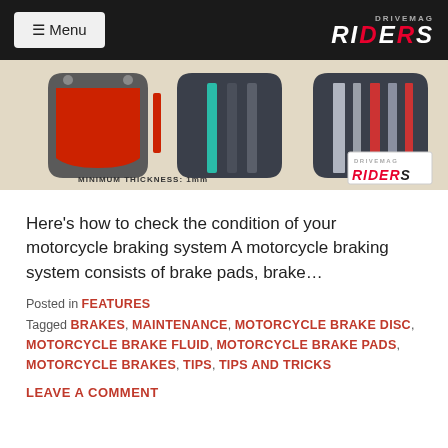Menu | DRIVEMAG RIDERS
[Figure (illustration): Infographic showing cross-sections of motorcycle brake pads at different wear levels with text 'MINIMUM THICKNESS 1mm' and DRIVEMAG RIDERS logo badge]
Here's how to check the condition of your motorcycle braking system A motorcycle braking system consists of brake pads, brake…
Posted in FEATURES
Tagged BRAKES, MAINTENANCE, MOTORCYCLE BRAKE DISC, MOTORCYCLE BRAKE FLUID, MOTORCYCLE BRAKE PADS, MOTORCYCLE BRAKES, TIPS, TIPS AND TRICKS
LEAVE A COMMENT